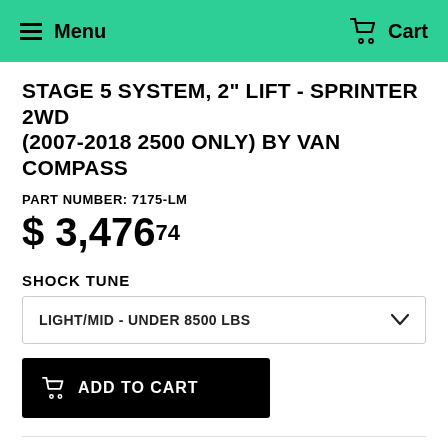Menu  Cart
STAGE 5 SYSTEM, 2" LIFT - SPRINTER 2WD (2007-2018 2500 ONLY) BY VAN COMPASS
PART NUMBER: 7175-LM
$ 3,476.74
SHOCK TUNE
LIGHT/MID - UNDER 8500 LBS
ADD TO CART
Description